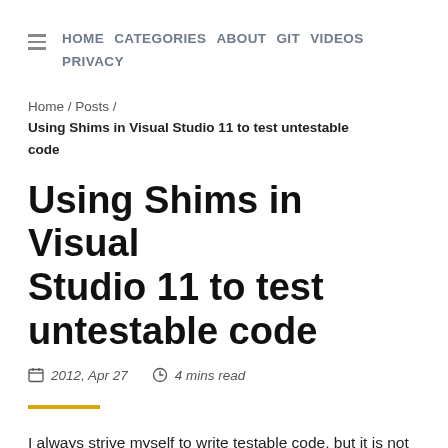HOME  CATEGORIES  ABOUT  GIT  VIDEOS  PRIVACY
Home / Posts / Using Shims in Visual Studio 11 to test untestable code
Using Shims in Visual Studio 11 to test untestable code
2012, Apr 27   4 mins read
I always strive myself to write testable code, but it is not